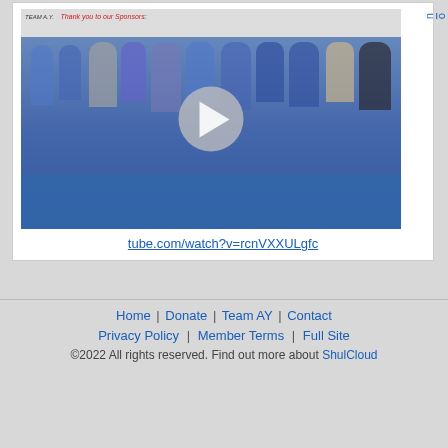[Figure (photo): Group photo of Team AY members at an event with a 'Thank you to our Sponsors' banner, with a video play button overlay in the center]
http://www.youtube.com/watch?v=rcnVXXULgfc
Home | Donate | Team AY | Contact
Privacy Policy | Member Terms | Full Site
©2022 All rights reserved. Find out more about ShulCloud